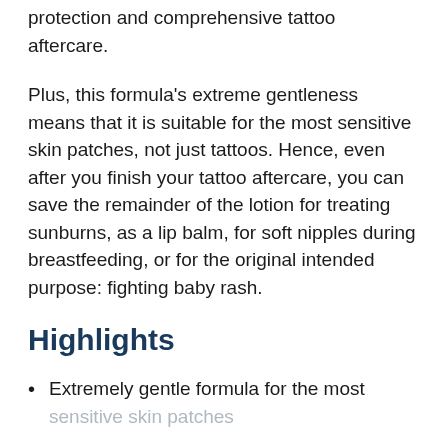protection and comprehensive tattoo aftercare.
Plus, this formula's extreme gentleness means that it is suitable for the most sensitive skin patches, not just tattoos. Hence, even after you finish your tattoo aftercare, you can save the remainder of the lotion for treating sunburns, as a lip balm, for soft nipples during breastfeeding, or for the original intended purpose: fighting baby rash.
Highlights
Extremely gentle formula for the most sensitive skin patches